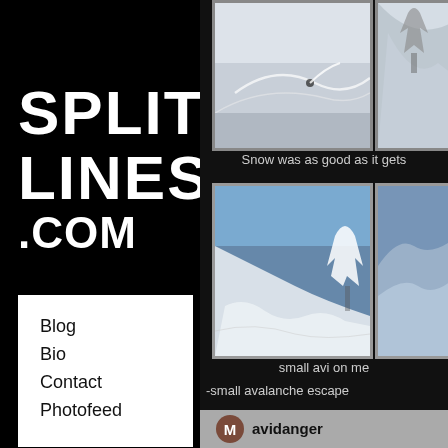SPLIT LINES .COM
Blog
Bio
Contact
Photofeed
[Figure (photo): Skier making tracks in deep powder snow, aerial/slope view]
[Figure (photo): Snow-covered mountain or tree, close-up]
Snow was as good as it gets
[Figure (photo): Small avalanche on a steep snowy slope with snow-covered trees]
[Figure (photo): Mountain peaks with blue sky]
small avi on me
-small avalanche escape
M  avidanger